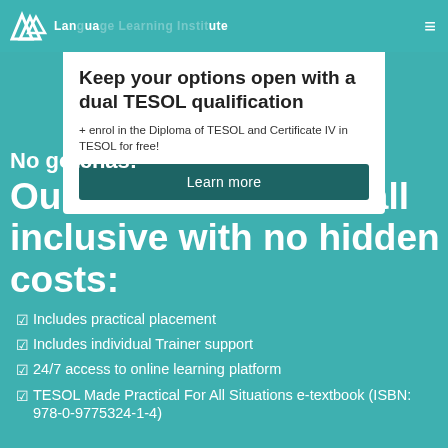LLI Language Learning Institute
Keep your options open with a dual TESOL qualification
No gotchas:
+ enrol in the Diploma of TESOL and Certificate IV in TESOL for free!
Our course fees are all inclusive with no hidden costs:
Learn more
☑ Includes practical placement
☑ Includes individual Trainer support
☑ 24/7 access to online learning platform
☑ TESOL Made Practical For All Situations e-textbook (ISBN: 978-0-9775324-1-4)